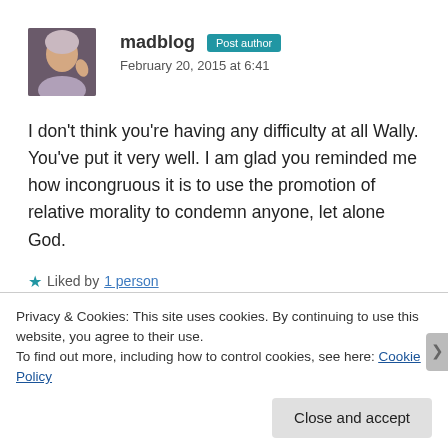[Figure (photo): Avatar photo of madblog author, a woman waving against a light background]
madblog Post author
February 20, 2015 at 6:41
I don't think you're having any difficulty at all Wally. You've put it very well. I am glad you reminded me how incongruous it is to use the promotion of relative morality to condemn anyone, let alone God.
★ Liked by 1 person
Privacy & Cookies: This site uses cookies. By continuing to use this website, you agree to their use.
To find out more, including how to control cookies, see here: Cookie Policy
Close and accept